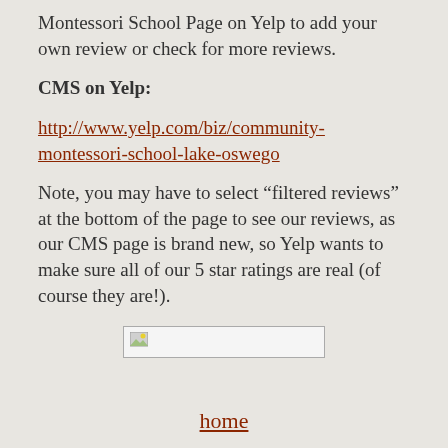Montessori School Page on Yelp to add your own review or check for more reviews.
CMS on Yelp:
http://www.yelp.com/biz/community-montessori-school-lake-oswego
Note, you may have to select “filtered reviews” at the bottom of the page to see our reviews, as our CMS page is brand new, so Yelp wants to make sure all of our 5 star ratings are real (of course they are!).
[Figure (photo): Broken image placeholder with small image icon]
home